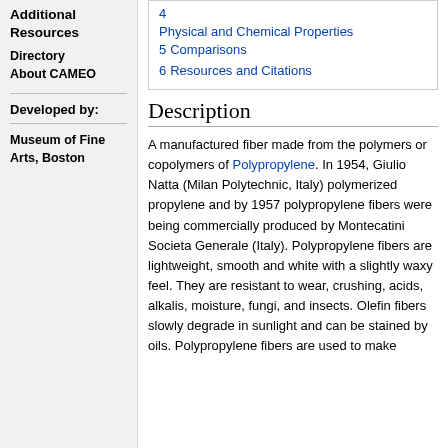Additional Resources
Directory
About CAMEO
Developed by:
Museum of Fine Arts, Boston
4  Physical and Chemical Properties
5  Comparisons
6  Resources and Citations
Description
A manufactured fiber made from the polymers or copolymers of Polypropylene. In 1954, Giulio Natta (Milan Polytechnic, Italy) polymerized propylene and by 1957 polypropylene fibers were being commercially produced by Montecatini Societa Generale (Italy). Polypropylene fibers are lightweight, smooth and white with a slightly waxy feel. They are resistant to wear, crushing, acids, alkalis, moisture, fungi, and insects. Olefin fibers slowly degrade in sunlight and can be stained by oils. Polypropylene fibers are used to make